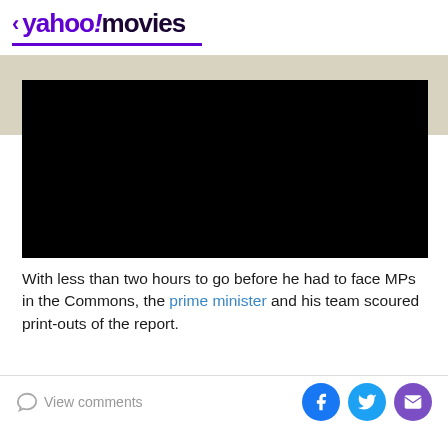< yahoo!movies
[Figure (screenshot): Black video player placeholder]
With less than two hours to go before he had to face MPs in the Commons, the prime minister and his team scoured print-outs of the report.
View comments | Social share buttons: Facebook, Twitter, Email